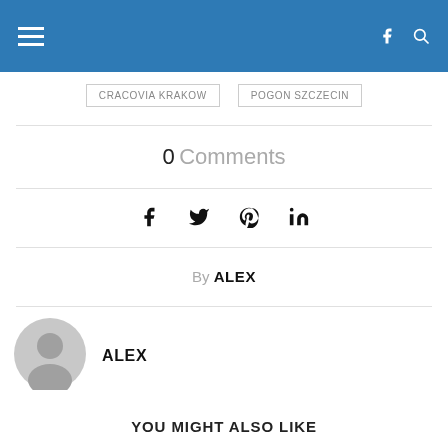Navigation bar with hamburger menu, Facebook and search icons
CRACOVIA KRAKOW   POGON SZCZECIN
0 Comments
[Figure (infographic): Social share icons: Facebook, Twitter, Pinterest, LinkedIn]
By ALEX
ALEX
[Figure (illustration): Default user avatar - grey circle with person silhouette]
YOU MIGHT ALSO LIKE